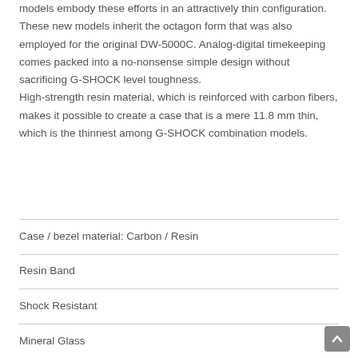models embody these efforts in an attractively thin configuration. These new models inherit the octagon form that was also employed for the original DW-5000C. Analog-digital timekeeping comes packed into a no-nonsense simple design without sacrificing G-SHOCK level toughness.
High-strength resin material, which is reinforced with carbon fibers, makes it possible to create a case that is a mere 11.8 mm thin, which is the thinnest among G-SHOCK combination models.
Case / bezel material: Carbon / Resin
Resin Band
Shock Resistant
Mineral Glass